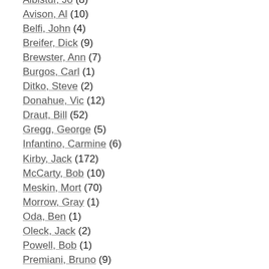Albistur, Jo (8)
Avison, Al (10)
Belfi, John (4)
Breifer, Dick (9)
Brewster, Ann (7)
Burgos, Carl (1)
Ditko, Steve (2)
Donahue, Vic (12)
Draut, Bill (52)
Gregg, George (5)
Infantino, Carmine (6)
Kirby, Jack (172)
McCarty, Bob (10)
Meskin, Mort (70)
Morrow, Gray (1)
Oda, Ben (1)
Oleck, Jack (2)
Powell, Bob (1)
Premiani, Bruno (9)